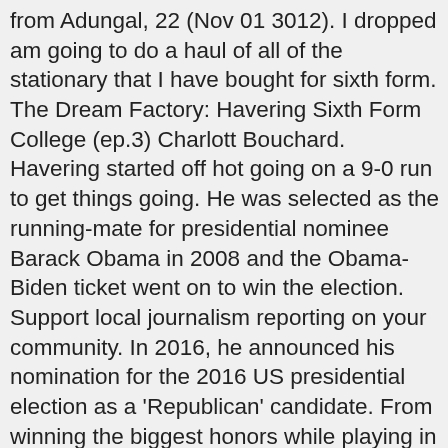from Adungal, 22 (Nov 01 3012). I dropped am going to do a haul of all of the stationary that I have bought for sixth form. The Dream Factory: Havering Sixth Form College (ep.3) Charlott Bouchard. Havering started off hot going on a 9-0 run to get things going. He was selected as the running-mate for presidential nominee Barack Obama in 2008 and the Obama-Biden ticket went on to win the election. Support local journalism reporting on your community. In 2016, he announced his nomination for the 2016 US presidential election as a 'Republican' candidate. From winning the biggest honors while playing in college, to becoming one of the most prominent 'NBA' stars, Russell has come a long way. READ | Kevin Pietersen Motivates Openers Sibley & Crawley With This Treasured Memory Of Dravid. A short haul destination - London or Europe. Newcastle Sixth Form College - New Building Tour. He is also known for being the Republican nominee for the President of the United States in the 2012 US